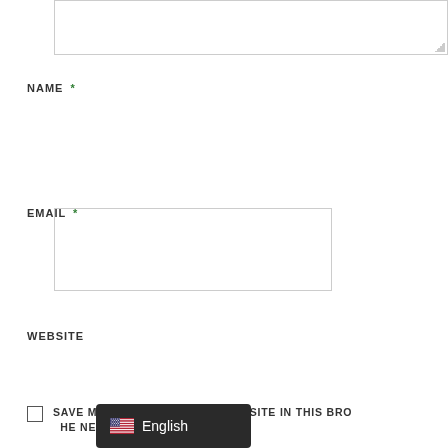[Figure (screenshot): Comment form textarea (top portion, cropped) with resize handle in bottom-right corner]
NAME *
[Figure (screenshot): Name input text field, empty]
EMAIL *
[Figure (screenshot): Email input text field, empty]
WEBSITE
[Figure (screenshot): Website input text field, empty]
SAVE MY NAME, EMAIL, AND WEBSITE IN THIS BROWSER FOR THE NEXT TIME I COMMENT.
[Figure (screenshot): Language selector badge showing US flag and 'English' label on dark background]